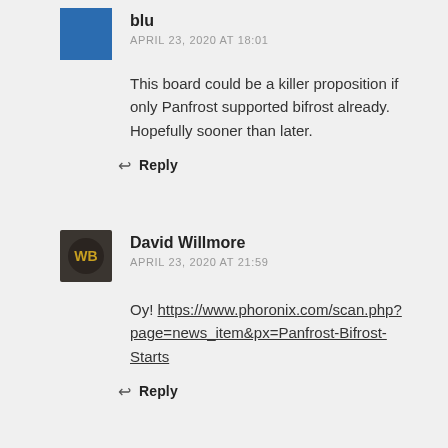[Figure (photo): Blue avatar image for commenter 'blu']
blu
APRIL 23, 2020 AT 18:01
This board could be a killer proposition if only Panfrost supported bifrost already. Hopefully sooner than later.
Reply
[Figure (photo): Dark avatar image for commenter 'David Willmore']
David Willmore
APRIL 23, 2020 AT 21:59
Oy! https://www.phoronix.com/scan.php?page=news_item&px=Panfrost-Bifrost-Starts
Reply